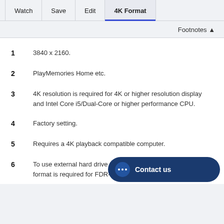Watch | Save | Edit | 4K Format
Footnotes
1  3840 x 2160.
2  PlayMemories Home etc.
3  4K resolution is required for 4K or higher resolution display and Intel Core i5/Dual-Core or higher performance CPU.
4  Factory setting.
5  Requires a 4K playback compatible computer.
6  To use external hard drive format is required for 4K Handycam format is required for FDR-AX1/-AX1E